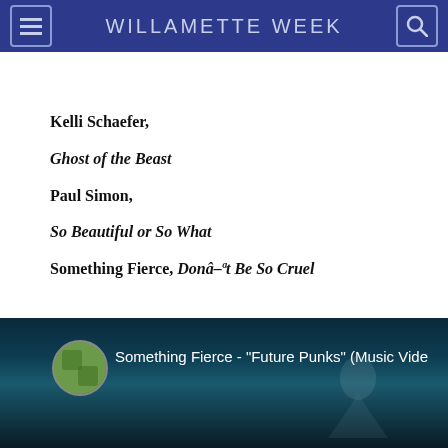WILLAMETTE WEEK
Kelli Schaefer,
Ghost of the Beast
Paul Simon,
So Beautiful or So What
Something Fierce, Donât Be So Cruel
[Figure (screenshot): Video thumbnail showing Something Fierce - "Future Punks" (Music Video) with channel icon and dark background]